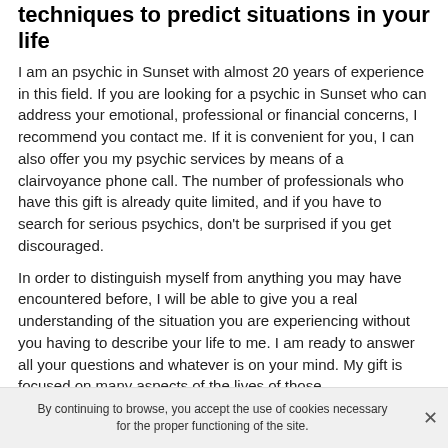techniques to predict situations in your life
I am an psychic in Sunset with almost 20 years of experience in this field. If you are looking for a psychic in Sunset who can address your emotional, professional or financial concerns, I recommend you contact me. If it is convenient for you, I can also offer you my psychic services by means of a clairvoyance phone call. The number of professionals who have this gift is already quite limited, and if you have to search for serious psychics, don't be surprised if you get discouraged.
In order to distinguish myself from anything you may have encountered before, I will be able to give you a real understanding of the situation you are experiencing without you having to describe your life to me. I am ready to answer all your questions and whatever is on your mind. My gift is focused on many aspects of the lives of those
By continuing to browse, you accept the use of cookies necessary for the proper functioning of the site.